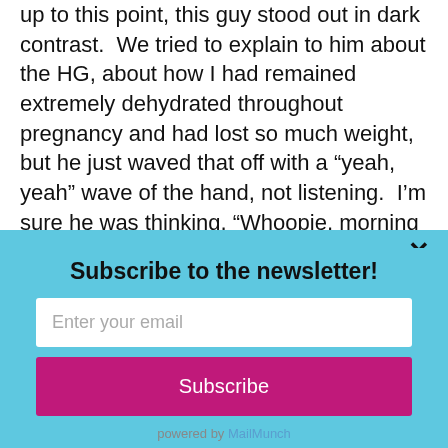up to this point, this guy stood out in dark contrast.  We tried to explain to him about the HG, about how I had remained extremely dehydrated throughout pregnancy and had lost so much weight, but he just waved that off with a “yeah, yeah” wave of the hand, not listening.  I’m sure he was thinking, “Whoopie, morning sickness, heard it before lady.”  The final straw was when he pulled out a piece of
[Figure (screenshot): Newsletter subscription modal popup with light blue background. Contains title 'Subscribe to the newsletter!', an email input field with placeholder 'Enter your email', a magenta 'Subscribe' button, a close (X) button, and 'powered by MailMunch' footer text.]